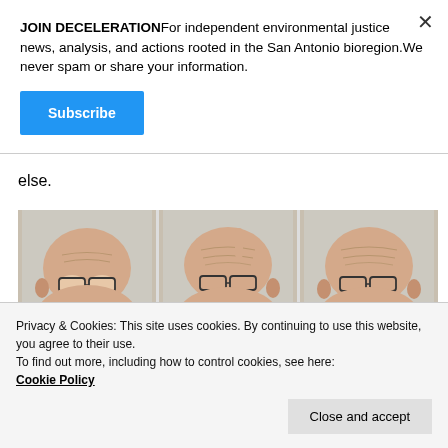JOIN DECELERATIONFor independent environmental justice news, analysis, and actions rooted in the San Antonio bioregion.We never spam or share your information.
Subscribe
else.
[Figure (photo): Three side-by-side photos of a bald man with glasses at what appears to be a public meeting.]
[Figure (photo): Three side-by-side photos of the same bald man with glasses, partially visible, with 'UTILITIES MEETING' text overlaid.]
Privacy & Cookies: This site uses cookies. By continuing to use this website, you agree to their use.
To find out more, including how to control cookies, see here:
Cookie Policy
Close and accept